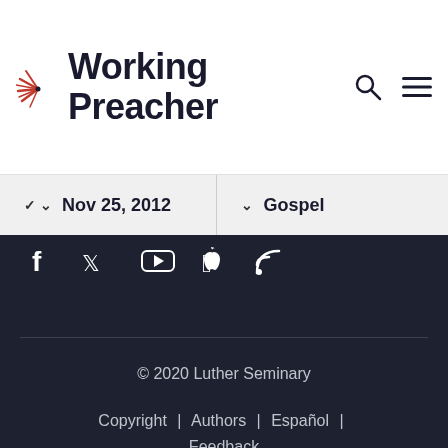Working Preacher
Nov 25, 2012
Gospel
[Figure (screenshot): Social media icons: Facebook, Twitter, YouTube, Apple, RSS]
© 2020 Luther Seminary
Copyright | Authors | Español | Feedback